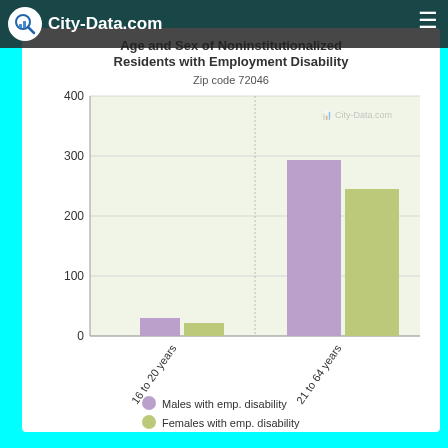City-Data.com
Age and Sex of Noninstitutionalized Residents with Employment Disability
Zip code 72046
[Figure (grouped-bar-chart): Age and Sex of Noninstitutionalized Residents with Employment Disability]